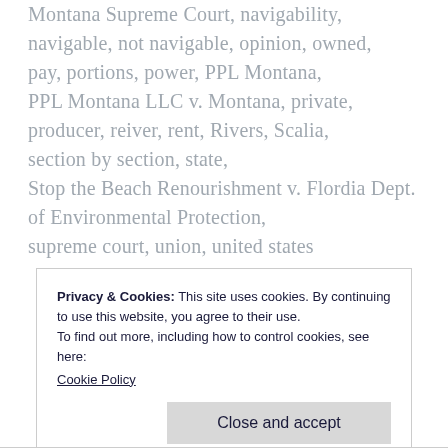Montana Supreme Court, navigability, navigable, not navigable, opinion, owned, pay, portions, power, PPL Montana, PPL Montana LLC v. Montana, private, producer, reiver, rent, Rivers, Scalia, section by section, state, Stop the Beach Renourishment v. Flordia Dept. of Environmental Protection, supreme court, union, united states
Privacy & Cookies: This site uses cookies. By continuing to use this website, you agree to their use. To find out more, including how to control cookies, see here: Cookie Policy